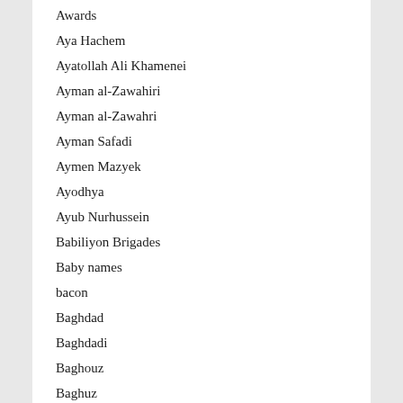Awards
Aya Hachem
Ayatollah Ali Khamenei
Ayman al-Zawahiri
Ayman al-Zawahri
Ayman Safadi
Aymen Mazyek
Ayodhya
Ayub Nurhussein
Babiliyon Brigades
Baby names
bacon
Baghdad
Baghdadi
Baghouz
Baghuz
Bahr Academy